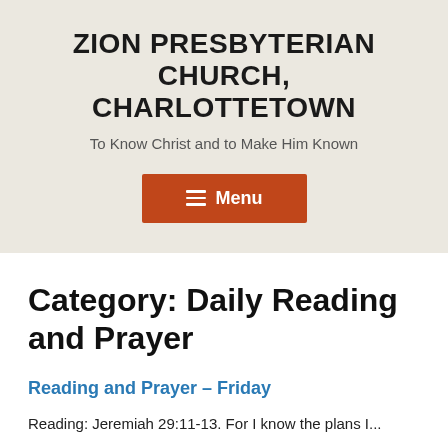ZION PRESBYTERIAN CHURCH, CHARLOTTETOWN
To Know Christ and to Make Him Known
[Figure (other): Orange rectangular menu button with hamburger icon and text 'Menu']
Category: Daily Reading and Prayer
Reading and Prayer – Friday
Reading: Jeremiah 29:11-13. For I know the plans I...